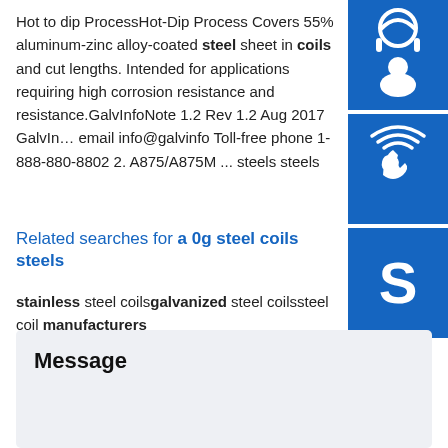Hot to dip ProcessHot-Dip Process Covers 55% aluminum-zinc alloy-coated steel sheet in coils and cut lengths. Intended for applications requiring high corrosion resistance and resistance.GalvInfoNote 1.2 Rev 1.2 Aug 2017 GalvIn... email info@galvinfo Toll-free phone 1-888-880-8802 2. A875/A875M ... steels steels
Related searches for a 0g steel coils steels
stainless steel coils galvanized steel coils steel coil manufacturers
[Figure (illustration): Three blue icon buttons on right sidebar: headset/customer support icon, phone/call icon, Skype icon]
Message